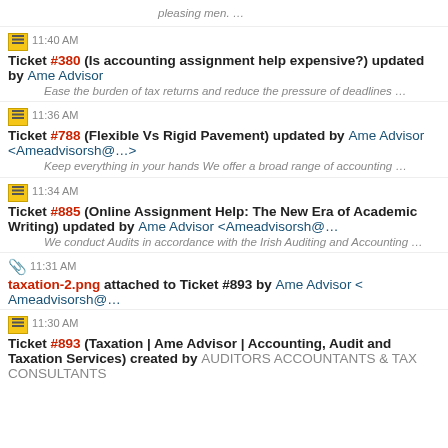pleasing men. …
11:40 AM Ticket #380 (Is accounting assignment help expensive?) updated by Ame Advisor
Ease the burden of tax returns and reduce the pressure of deadlines …
11:36 AM Ticket #788 (Flexible Vs Rigid Pavement) updated by Ame Advisor <Ameadvisorsh@…>
Keep everything in your hands We offer a broad range of accounting …
11:34 AM Ticket #885 (Online Assignment Help: The New Era of Academic Writing) updated by Ame Advisor <Ameadvisorsh@…
We conduct Audits in accordance with the Irish Auditing and Accounting …
11:31 AM taxation-2.png attached to Ticket #893 by Ame Advisor < Ameadvisorsh@…
11:30 AM Ticket #893 (Taxation | Ame Advisor | Accounting, Audit and Taxation Services) created by AUDITORS ACCOUNTANTS & TAX CONSULTANTS